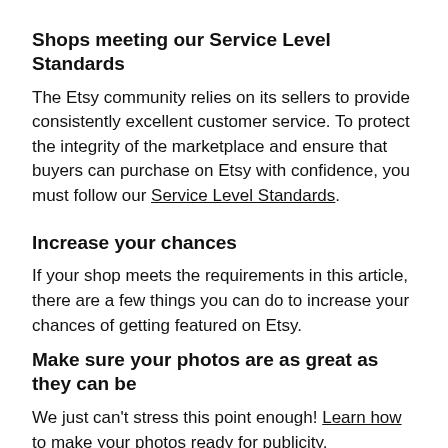Shops meeting our Service Level Standards
The Etsy community relies on its sellers to provide consistently excellent customer service. To protect the integrity of the marketplace and ensure that buyers can purchase on Etsy with confidence, you must follow our Service Level Standards.
Increase your chances
If your shop meets the requirements in this article, there are a few things you can do to increase your chances of getting featured on Etsy.
Make sure your photos are as great as they can be
We just can't stress this point enough! Learn how to make your photos ready for publicity.
Be an active part of the Etsy community